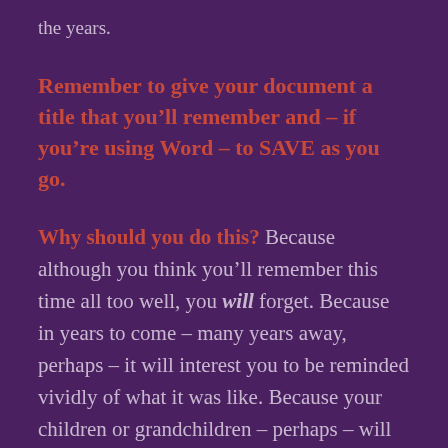the years.
Remember to give your document a title that you’ll remember and – if you’re using Word – to SAVE as you go.
Why should you do this? Because although you think you’ll remember this time all too well, you will forget. Because in years to come – many years away, perhaps – it will interest you to be reminded vividly of what it was like. Because your children or grandchildren – perhaps – will be